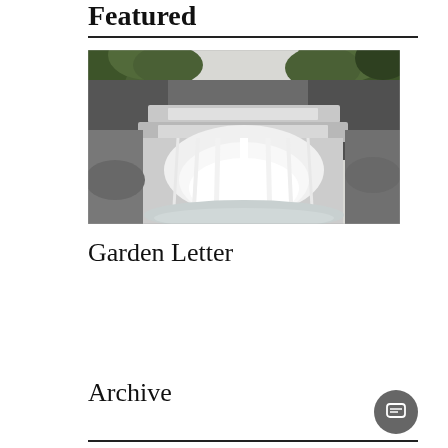Featured
[Figure (photo): A photograph of a multi-tiered waterfall with white rushing water and green foliage on the sides]
Garden Letter
Archive